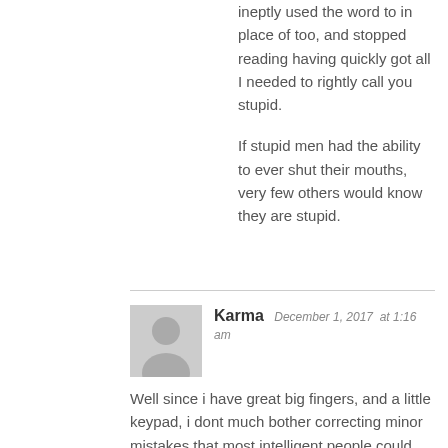ineptly used the word to in place of too, and stopped reading having quickly got all I needed to rightly call you stupid.
If stupid men had the ability to ever shut their mouths, very few others would know they are stupid.
Karma  December 1, 2017  at 1:16 am
Well since i have great big fingers, and a little keypad, i dont much bother correcting minor mistakes that most intelligent people could